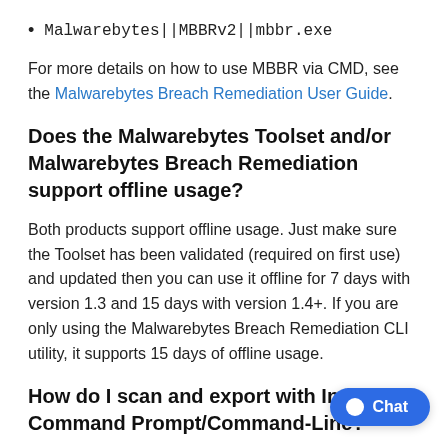Malwarebytes||MBBRv2||mbbr.exe
For more details on how to use MBBR via CMD, see the Malwarebytes Breach Remediation User Guide.
Does the Malwarebytes Toolset and/or Malwarebytes Breach Remediation support offline usage?
Both products support offline usage. Just make sure the Toolset has been validated (required on first use) and updated then you can use it offline for 7 days with version 1.3 and 15 days with version 1.4+. If you are only using the Malwarebytes Breach Remediation CLI utility, it supports 15 days of offline usage.
How do I scan and export with Ir... from Command Prompt/Command-Line?